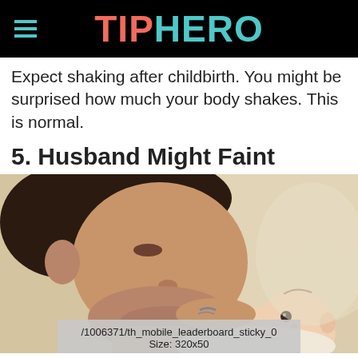TIPHERO
Expect shaking after childbirth. You might be surprised how much your body shakes. This is normal.
5. Husband Might Faint
[Figure (photo): A man leaning down close to a newborn baby, face-to-face, on a light-colored surface.]
/1006371/th_mobile_leaderboard_sticky_0
Size: 320x50